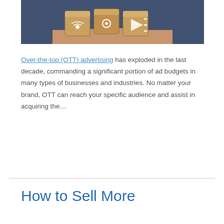[Figure (photo): A hand holding three wooden blocks with icons on them — a wifi/broadcast icon, a gear/settings icon, and a play button/media icon — against a blurred blue background.]
Over-the-top (OTT) advertising has exploded in the last decade, commanding a significant portion of ad budgets in many types of businesses and industries. No matter your brand, OTT can reach your specific audience and assist in acquiring the…
How to Sell More